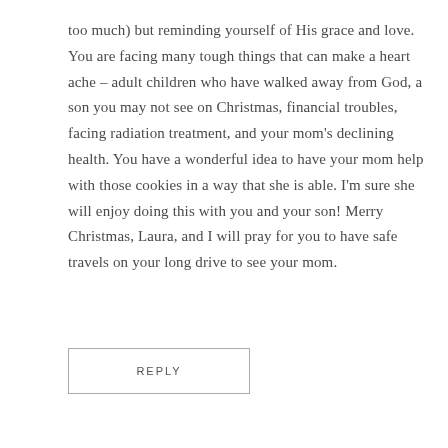too much) but reminding yourself of His grace and love. You are facing many tough things that can make a heart ache – adult children who have walked away from God, a son you may not see on Christmas, financial troubles, facing radiation treatment, and your mom's declining health. You have a wonderful idea to have your mom help with those cookies in a way that she is able. I'm sure she will enjoy doing this with you and your son! Merry Christmas, Laura, and I will pray for you to have safe travels on your long drive to see your mom.
REPLY